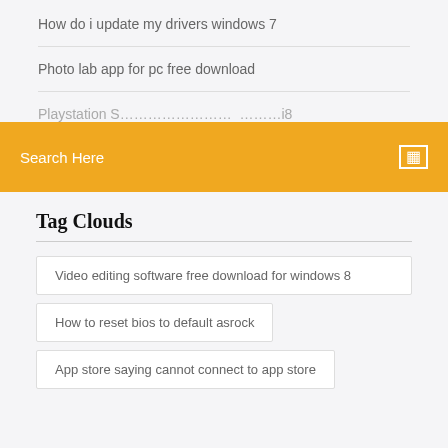How do i update my drivers windows 7
Photo lab app for pc free download
Playstation S...
Search Here
Tag Clouds
Video editing software free download for windows 8
How to reset bios to default asrock
App store saying cannot connect to app store